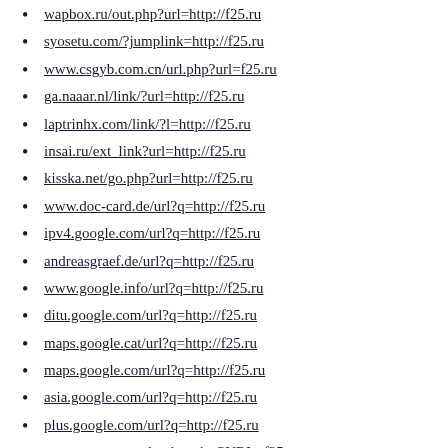wapbox.ru/out.php?url=http://f25.ru
syosetu.com/?jumplink=http://f25.ru
www.csgyb.com.cn/url.php?url=f25.ru
ga.naaar.nl/link/?url=http://f25.ru
laptrinhx.com/link/?l=http://f25.ru
insai.ru/ext_link?url=http://f25.ru
kisska.net/go.php?url=http://f25.ru
www.doc-card.de/url?q=http://f25.ru
ipv4.google.com/url?q=http://f25.ru
andreasgraef.de/url?q=http://f25.ru
www.google.info/url?q=http://f25.ru
ditu.google.com/url?q=http://f25.ru
maps.google.cat/url?q=http://f25.ru
maps.google.com/url?q=http://f25.ru
asia.google.com/url?q=http://f25.ru
plus.google.com/url?q=http://f25.ru
www.muppetsauderghem.be/?URL=f25.ru
1001file.ru/go.php?go=http://f25.ru
pr.toolsky.com/pr.asp?domain=f25.ru